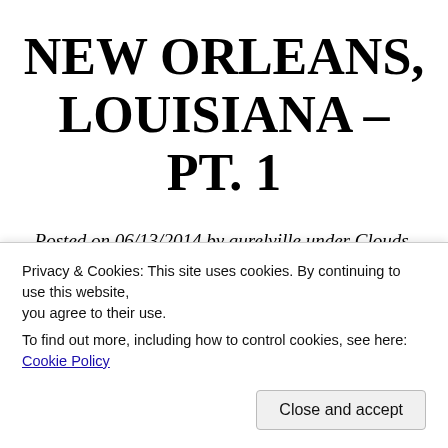NEW ORLEANS, LOUISIANA – PT. 1
Posted on 06/13/2014 by aurelville under Clouds, Eatery, Trips
On June 1, Mary and I went on a road trip down South. Headed to New Orleans, LA, we
Privacy & Cookies: This site uses cookies. By continuing to use this website, you agree to their use.
To find out more, including how to control cookies, see here: Cookie Policy
few bikers and cyclists, there was hardly any car